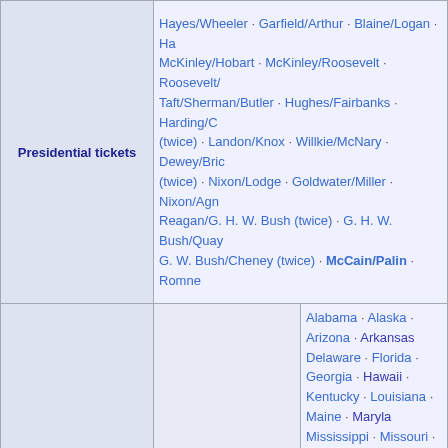| Category | Content |
| --- | --- |
| Presidential tickets | Hayes/Wheeler · Garfield/Arthur · Blaine/Logan · Ha... McKinley/Hobart · McKinley/Roosevelt · Roosevelt/... Taft/Sherman/Butler · Hughes/Fairbanks · Harding/C... (twice) · Landon/Knox · Willkie/McNary · Dewey/Bric... (twice) · Nixon/Lodge · Goldwater/Miller · Nixon/Agn... Reagan/G. H. W. Bush (twice) · G. H. W. Bush/Quay... G. W. Bush/Cheney (twice) · McCain/Palin · Romne... |
| Parties by state and territory | State | Alabama · Alaska · Arizona · Arkansas... Delaware · Florida · Georgia · Hawaii... Kentucky · Louisiana · Maine · Maryla... Mississippi · Missouri · Montana · Neb... New Jersey · New Mexico · New York... Oklahoma · Oregon · Pennsylvania · P... South Dakota · Tennessee · Texas · U... West Virginia · Wisconsin · Wyoming |
| Parties by state and territory | Territory | American Samoa · District of Columbia... Puerto Rico · Virgin Islands |
| Conventions (list) | 1856 (Philadelphia) · 1860 (Chicago) · 1864 (Baltimo... 1876 (Cincinnati) · 1880 (Chicago) · 1884 (Chicago)... 1896 (Saint Louis) · 1900 (Philadelphia) · 1904 (Chic... 1916 (Chicago) · 1920 (Chicago) · 1924 (Cleveland)... 1936 (Cleveland) · 1940 (Philadelphia) · 1944 (Chica... · 1956 (San Francisco) · 1960 (Chicago) · 1964 (Sa... 1972 (Miami Beach) · 1976 (Kansas City) · 1980 (R... |